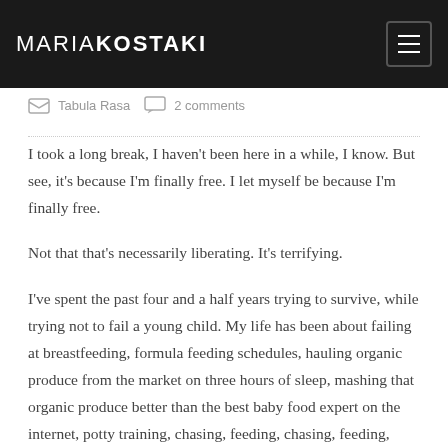MARIAKOSTAKI
Tabula Rasa   2 comments
I took a long break, I haven't been here in a while, I know. But see, it's because I'm finally free. I let myself be because I'm finally free.
Not that that's necessarily liberating. It's terrifying.
I've spent the past four and a half years trying to survive, while trying not to fail a young child. My life has been about failing at breastfeeding, formula feeding schedules, hauling organic produce from the market on three hours of sleep, mashing that organic produce better than the best baby food expert on the internet, potty training, chasing, feeding, chasing, feeding, crying, encouraging, teaching, all while demonstrating the